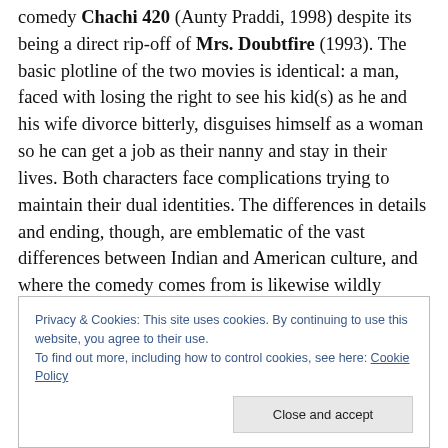comedy Chachi 420 (Aunty Praddi, 1998) despite its being a direct rip-off of Mrs. Doubtfire (1993). The basic plotline of the two movies is identical: a man, faced with losing the right to see his kid(s) as he and his wife divorce bitterly, disguises himself as a woman so he can get a job as their nanny and stay in their lives. Both characters face complications trying to maintain their dual identities. The differences in details and ending, though, are emblematic of the vast differences between Indian and American culture, and where the comedy comes from is likewise wildly variant.  I think may help shed light on why
Privacy & Cookies: This site uses cookies. By continuing to use this website, you agree to their use.
To find out more, including how to control cookies, see here: Cookie Policy